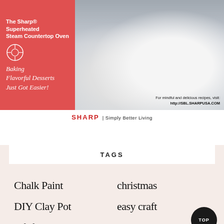[Figure (photo): Advertisement for Sharp Superheated Steam Countertop Oven showing a baking-themed ad with red panel on left containing text and food photography on right showing a dessert with strawberries and cream in a dark baking dish]
SHARP | Simply Better Living
TAGS
Chalk Paint
christmas
DIY Clay Pot
easy craft
gift for her